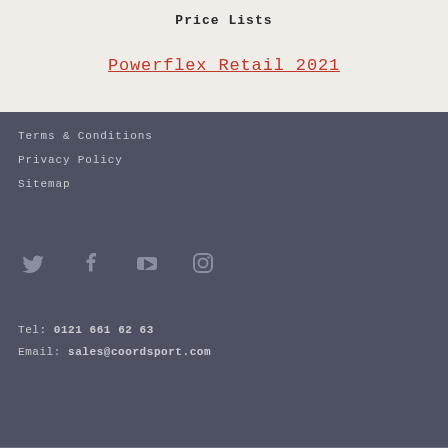Price Lists
Powerflex Retail 2021
Terms & Conditions
Privacy Policy
Sitemap
[Figure (illustration): Social media icons: Twitter, Facebook, YouTube, Instagram]
Tel: 0121 661 62 63
Email: sales@coordsport.com